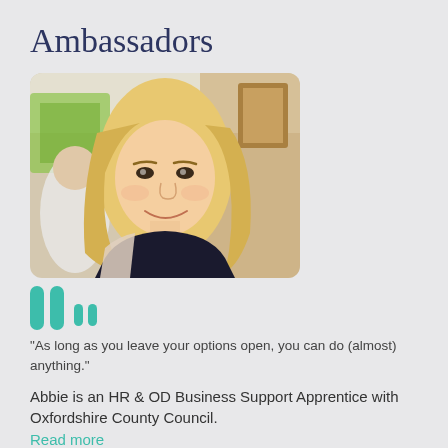Ambassadors
[Figure (photo): Young smiling blonde woman at an indoor social event, background includes colourful art and other people]
"As long as you leave your options open, you can do (almost) anything."
Abbie is an HR & OD Business Support Apprentice with Oxfordshire County Council.
Read more